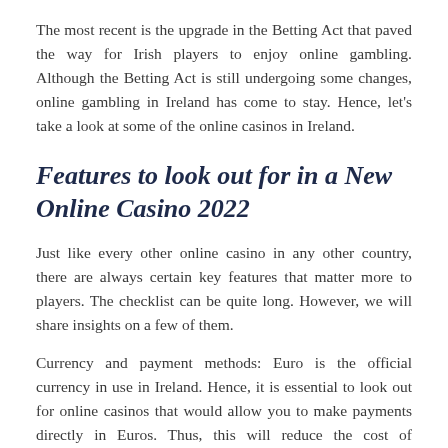The most recent is the upgrade in the Betting Act that paved the way for Irish players to enjoy online gambling. Although the Betting Act is still undergoing some changes, online gambling in Ireland has come to stay. Hence, let's take a look at some of the online casinos in Ireland.
Features to look out for in a New Online Casino 2022
Just like every other online casino in any other country, there are always certain key features that matter more to players. The checklist can be quite long. However, we will share insights on a few of them.
Currency and payment methods: Euro is the official currency in use in Ireland. Hence, it is essential to look out for online casinos that would allow you to make payments directly in Euros. Thus, this will reduce the cost of conversion from one currency to the other. Likewise, the available payment methods also matter. Nearly all online casinos that use